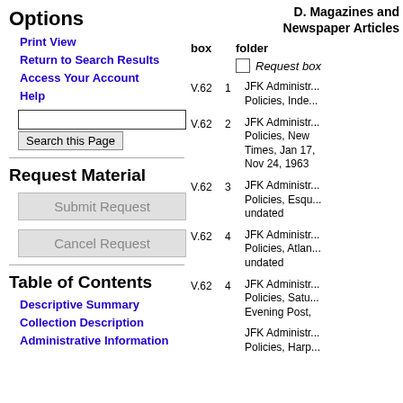Options
Print View
Return to Search Results
Access Your Account
Help
Request Material
Table of Contents
Descriptive Summary
Collection Description
Administrative Information
D. Magazines and Newspaper Articles
| box | folder |  |
| --- | --- | --- |
|  |  | Request box |
| V.62 | 1 | JFK Administr... Policies, Inde... |
| V.62 | 2 | JFK Administr... Policies, New Times, Jan 17, Nov 24, 1963 |
| V.62 | 3 | JFK Administr... Policies, Esqu... undated |
| V.62 | 4 | JFK Administr... Policies, Atlan... undated |
| V.62 | 4 | JFK Administr... Policies, Satu... Evening Post, |
|  |  | JFK Administr... Policies, Harp... |